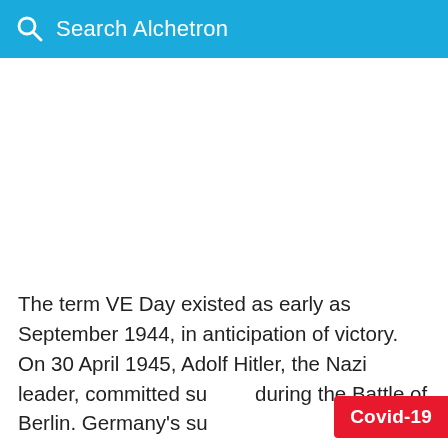Search Alchetron
The term VE Day existed as early as September 1944, in anticipation of victory. On 30 April 1945, Adolf Hitler, the Nazi leader, committed suicide during the Battle of Berlin. Germany's su...
[Figure (other): Covid-19 badge overlay in red at bottom-right corner]